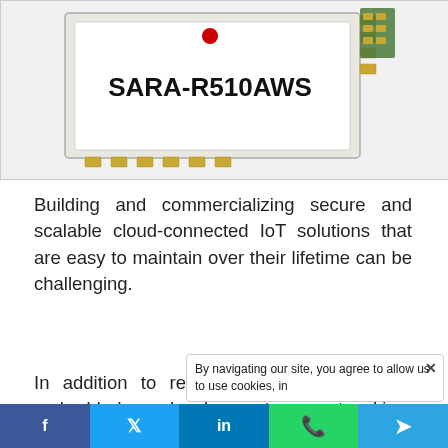[Figure (photo): Photo of SARA-R510AWS IoT module/chip — a small white ceramic module labeled 'SARA-R510AWS' in bold black text, with gold contact pads visible along the edge, and a green PCB corner visible at top right.]
Building and commercializing secure and scalable cloud-connected IoT solutions that are easy to maintain over their lifetime can be challenging.
In addition to requiring deep expertise in embedded development, networking, cryptography, and cloud architecture, developers need to be proficient in h... complex software stack. As a r...